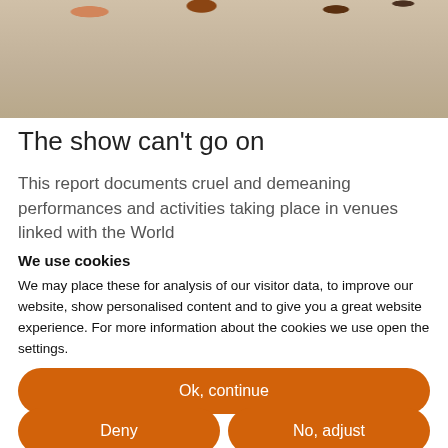[Figure (photo): Partial photo of shoes or similar objects on a textured light gray concrete surface, cropped at top of page]
The show can't go on
This report documents cruel and demeaning performances and activities taking place in venues linked with the World
We use cookies
We may place these for analysis of our visitor data, to improve our website, show personalised content and to give you a great website experience. For more information about the cookies we use open the settings.
Ok, continue
Deny
No, adjust